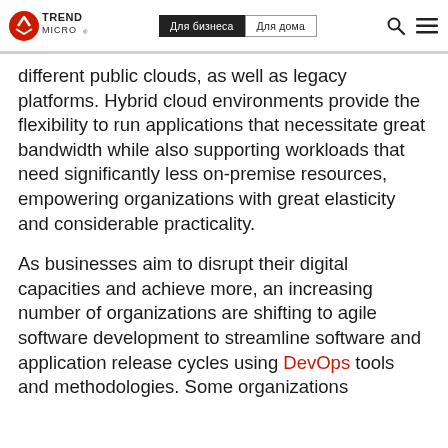Trend Micro | Для бизнеса | Для дома
different public clouds, as well as legacy platforms. Hybrid cloud environments provide the flexibility to run applications that necessitate great bandwidth while also supporting workloads that need significantly less on-premise resources, empowering organizations with great elasticity and considerable practicality.
As businesses aim to disrupt their digital capacities and achieve more, an increasing number of organizations are shifting to agile software development to streamline software and application release cycles using DevOps tools and methodologies. Some organizations